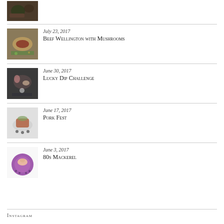[Figure (photo): Food dish photo at top (partial, cropped)]
July 23, 2017 – Beef Wellington with Mushrooms
June 30, 2017 – Lucky Dip Challenge
June 17, 2017 – Pork Fest
June 3, 2017 – 80s Mackerel
Instagram